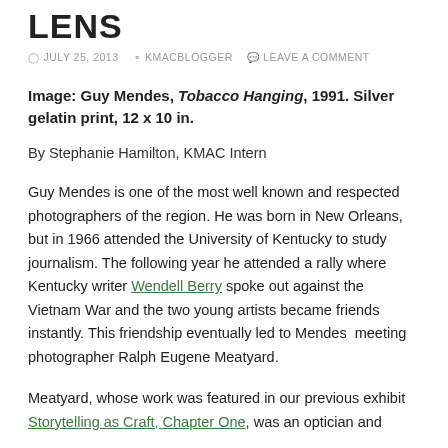LENS
JULY 25, 2013   KMACBLOGGER   LEAVE A COMMENT
Image: Guy Mendes, Tobacco Hanging, 1991. Silver gelatin print, 12 x 10 in.
By Stephanie Hamilton, KMAC Intern
Guy Mendes is one of the most well known and respected photographers of the region. He was born in New Orleans, but in 1966 attended the University of Kentucky to study journalism. The following year he attended a rally where Kentucky writer Wendell Berry spoke out against the Vietnam War and the two young artists became friends instantly. This friendship eventually led to Mendes  meeting photographer Ralph Eugene Meatyard.
Meatyard, whose work was featured in our previous exhibit Storytelling as Craft, Chapter One, was an optician and